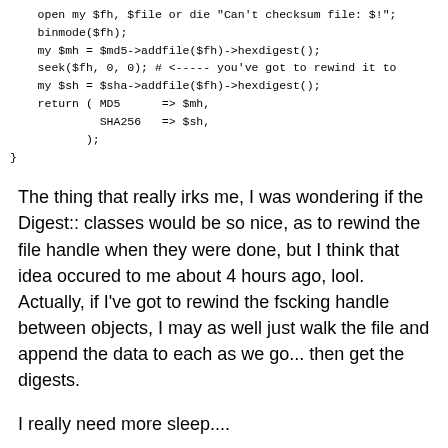open my $fh, $file or die "Can't checksum file: $!";
    binmode($fh);
    my $mh = $md5->addfile($fh)->hexdigest();
    seek($fh, 0, 0); # <----- you've got to rewind it to
    my $sh = $sha->addfile($fh)->hexdigest();
    return ( MD5      => $mh,
             SHA256   => $sh,
           );
}
The thing that really irks me, I was wondering if the Digest:: classes would be so nice, as to rewind the file handle when they were done, but I think that idea occured to me about 4 hours ago, lool. Actually, if I've got to rewind the fscking handle between objects, I may as well just walk the file and append the data to each as we go... then get the digests.
I really need more sleep....